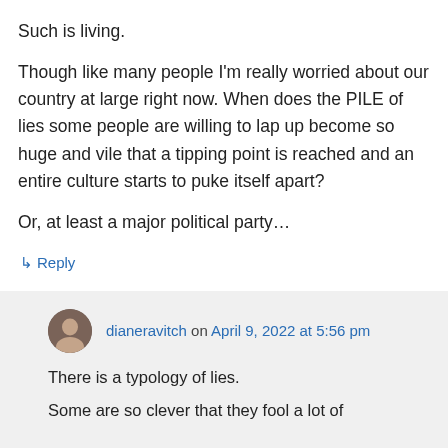Such is living.
Though like many people I'm really worried about our country at large right now. When does the PILE of lies some people are willing to lap up become so huge and vile that a tipping point is reached and an entire culture starts to puke itself apart?
Or, at least a major political party…
↳ Reply
dianeravitch on April 9, 2022 at 5:56 pm
There is a typology of lies.
Some are so clever that they fool a lot of